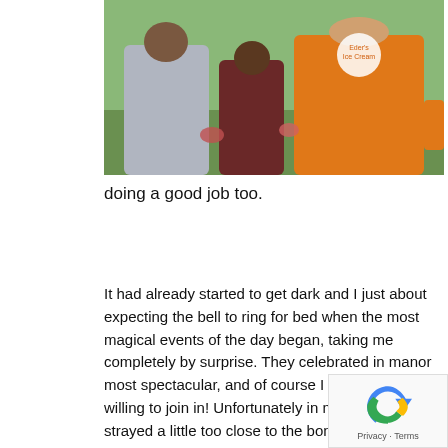[Figure (photo): Photo of people holding items outdoors, one person wearing an orange 'Eder's Ice Cream' t-shirt, green grass/outdoor background]
doing a good job too.
It had already started to get dark and I just about expecting the bell to ring for bed when the most magical events of the day began, taking me completely by surprise. They celebrated in manor most spectacular, and of course I was only too willing to join in! Unfortunately in my enthusiasm I strayed a little too close to the bonfire and I began to dry out! Luckily the lake was right there and I managed to make a leap for the water before a serious damage could be done.
[Figure (logo): reCAPTCHA widget with Privacy · Terms footer]